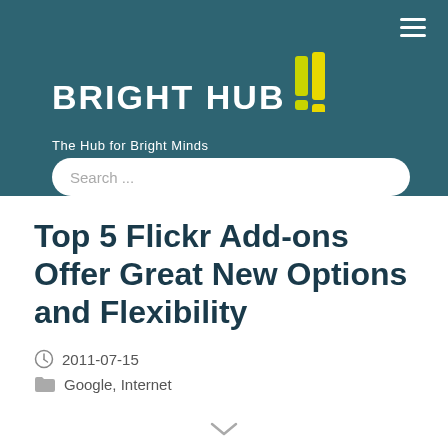[Figure (logo): Bright Hub logo with yellow exclamation mark graphic and tagline 'The Hub for Bright Minds' on teal/dark blue header background]
Top 5 Flickr Add-ons Offer Great New Options and Flexibility
2011-07-15
Google, Internet